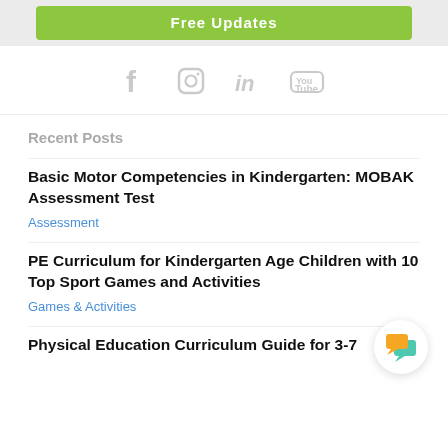[Figure (other): Green button with text 'Free Updates' on grey background banner]
[Figure (other): Social media icons row: Facebook, Instagram, LinkedIn, YouTube]
Recent Posts
Basic Motor Competencies in Kindergarten: MOBAK Assessment Test
Assessment
PE Curriculum for Kindergarten Age Children with 10 Top Sport Games and Activities
Games & Activities
Physical Education Curriculum Guide for 3-7
[Figure (illustration): Chat bubble icon in bottom right corner]